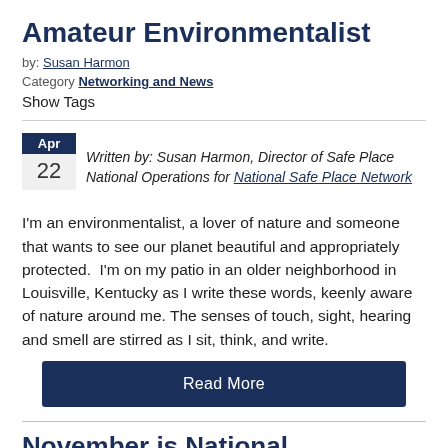Amateur Environmentalist
by: Susan Harmon
Category: Networking and News
Show Tags
Written by: Susan Harmon, Director of Safe Place National Operations for National Safe Place Network
I'm an environmentalist, a lover of nature and someone that wants to see our planet beautiful and appropriately protected.  I'm on my patio in an older neighborhood in Louisville, Kentucky as I write these words, keenly aware of nature around me. The senses of touch, sight, hearing and smell are stirred as I sit, think, and write.
Read More
November is National Runaway...